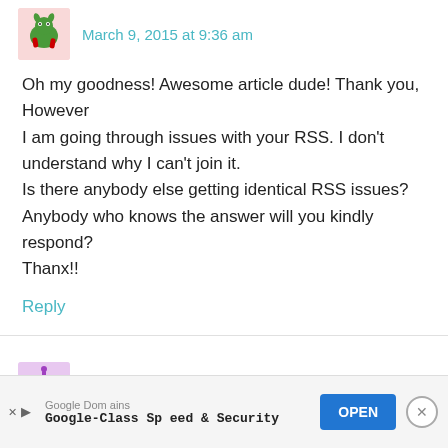March 9, 2015 at 9:36 am
Oh my goodness! Awesome article dude! Thank you, However
I am going through issues with your RSS. I don't understand why I can't join it.
Is there anybody else getting identical RSS issues? Anybody who knows the answer will you kindly respond?
Thanx!!
Reply
social security disability attorneys says
[Figure (screenshot): Google Domains advertisement banner with text 'Google-Class Speed & Security' and an OPEN button]